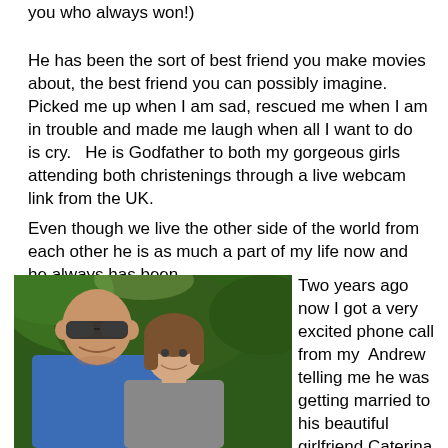you who always won!)
He has been the sort of best friend you make movies about, the best friend you can possibly imagine.  Picked me up when I am sad, rescued me when I am in trouble and made me laugh when all I want to do is cry.   He is Godfather to both my gorgeous girls attending both christenings through a live webcam link from the UK.
Even though we live the other side of the world from each other he is as much a part of my life now and he always has been.
[Figure (photo): Photo of a bald man wearing sunglasses and a blue t-shirt smiling, with a woman with brown hair beside him, outdoors with green foliage in the background.]
Two years ago now I got a very excited phone call from my  Andrew telling me he was getting married to his beautiful girlfriend Caterina in Italy in June